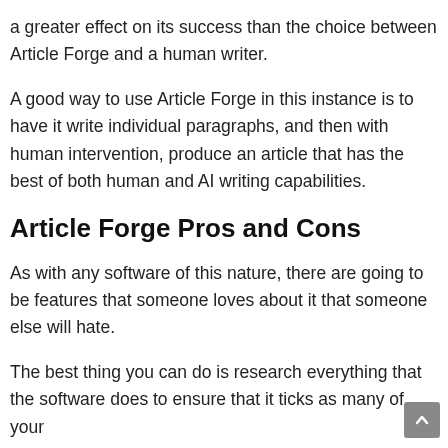a greater effect on its success than the choice between Article Forge and a human writer.
A good way to use Article Forge in this instance is to have it write individual paragraphs, and then with human intervention, produce an article that has the best of both human and AI writing capabilities.
Article Forge Pros and Cons
As with any software of this nature, there are going to be features that someone loves about it that someone else will hate.
The best thing you can do is research everything that the software does to ensure that it ticks as many of your